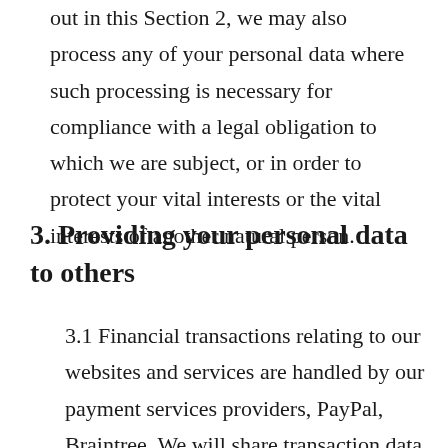out in this Section 2, we may also process any of your personal data where such processing is necessary for compliance with a legal obligation to which we are subject, or in order to protect your vital interests or the vital interests of another natural person.
3. Providing your personal data to others
3.1 Financial transactions relating to our websites and services are handled by our payment services providers, PayPal, Braintree. We will share transaction data with our payment services providers only to the